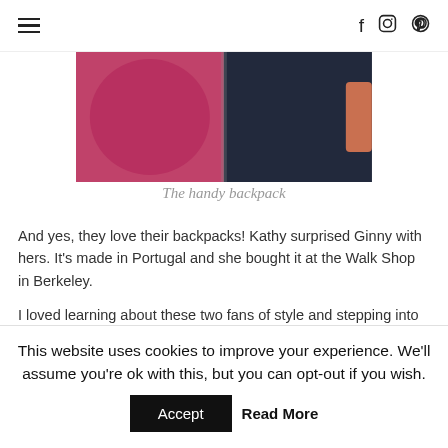☰  f  ⊙  ⊕
[Figure (photo): Partial view of a pink/magenta backpack on the left and a dark navy backpack on the right, held or worn by people]
The handy backpack
And yes, they love their backpacks! Kathy surprised Ginny with hers. It's made in Portugal and she bought it at the Walk Shop in Berkeley.
I loved learning about these two fans of style and stepping into their world just a little bit. I still think about Kathy getting up in the morning.
This website uses cookies to improve your experience. We'll assume you're ok with this, but you can opt-out if you wish.